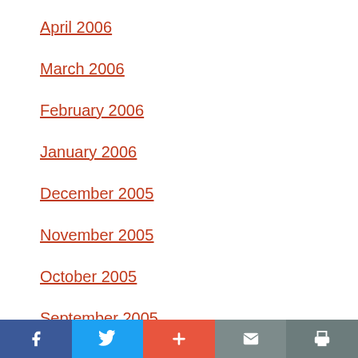April 2006
March 2006
February 2006
January 2006
December 2005
November 2005
October 2005
September 2005
August 2005
Social sharing bar: Facebook, Twitter, Plus, Email, Print